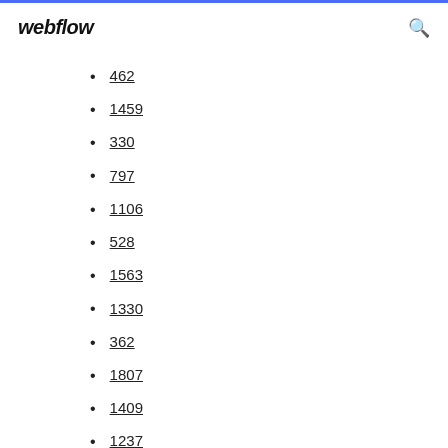webflow
462
1459
330
797
1106
528
1563
1330
362
1807
1409
1237